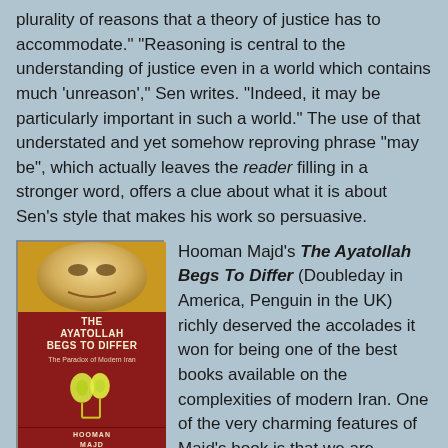plurality of reasons that a theory of justice has to accommodate." "Reasoning is central to the understanding of justice even in a world which contains much 'unreason'," Sen writes. "Indeed, it may be particularly important in such a world." The use of that understated and yet somehow reproving phrase "may be", which actually leaves the reader filling in a stronger word, offers a clue about what it is about Sen's style that makes his work so persuasive.
Hooman Majd's The Ayatollah Begs To Differ (Doubleday in America, Penguin in the UK) richly deserved the accolades it won for being one of the best books available on the complexities of modern Iran. One of the very charming features of Majd's book is that we are brought up close not only with Iran, but also with Majd himself: his love of life's little pleasures, his sunny nature and love of jokes and absurdities, and his alertness to very subtle nuances of social conduct. I read his work as a meditation not just on how to live when one goes to in Iran, but on how to live. Also perhaps the best book title of the year.